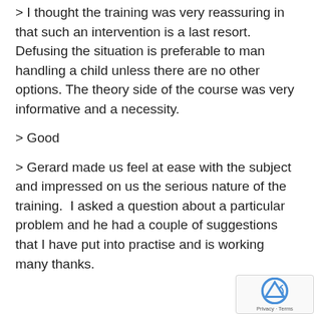> I thought the training was very reassuring in that such an intervention is a last resort. Defusing the situation is preferable to man handling a child unless there are no other options. The theory side of the course was very informative and a necessity.
> Good
> Gerard made us feel at ease with the subject and impressed on us the serious nature of the training.  I asked a question about a particular problem and he had a couple of suggestions that I have put into practise and is working many thanks.